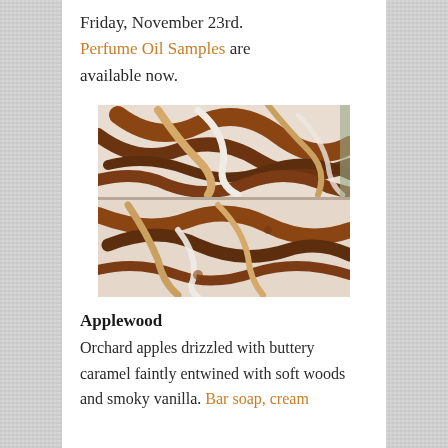Friday, November 23rd. Perfume Oil Samples are available now.
[Figure (photo): Two bars of artisan swirl soap with brown, cream, and white patterns, stacked on top of each other.]
Applewood
Orchard apples drizzled with buttery caramel faintly entwined with soft woods and smoky vanilla. Bar soap, cream